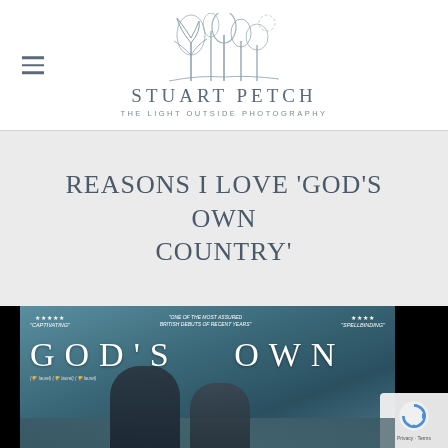[Figure (logo): Stuart Petch - The Light Outside Photography logo with illustrated trees and sun]
REASONS I LOVE 'GOD'S OWN COUNTRY'
[Figure (photo): Movie poster for God's Own Country showing two young men with film review quotes: 5-star Captivating, One of the most assured British debuts of recent years, 4-star Spellbinding]